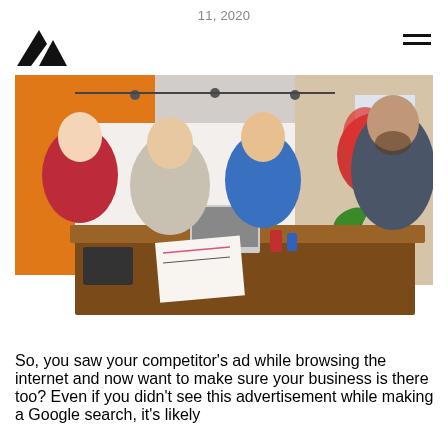11, 2020
[Figure (logo): Angular/geometric logo mark resembling stylized letter A with two triangular shapes]
[Figure (photo): Four people sitting around a wooden table in a meeting room with orange wall and floral mural, working together with laptops, notebooks and drinks on the table]
So, you saw your competitor's ad while browsing the internet and now want to make sure your business is there too? Even if you didn't see this advertisement while making a Google search, it's likely